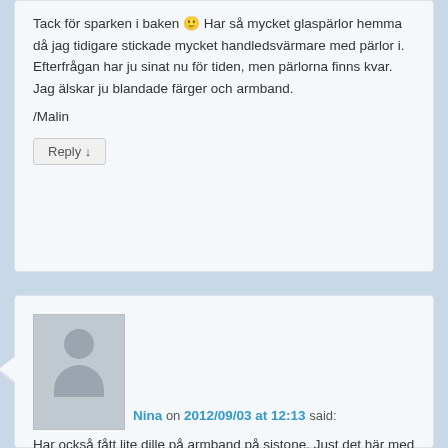Tack för sparken i baken 🙂 Har så mycket glaspärlor hemma då jag tidigare stickade mycket handledsvärmare med pärlor i. Efterfrågan har ju sinat nu för tiden, men pärlorna finns kvar. Jag älskar ju blandade färger och armband.
/Malin
Reply ↓
[Figure (photo): Default avatar placeholder image showing a silhouette of a person (head and shoulders) on a grey background]
Nina on 2012/09/03 at 12:13 said:
Har också fått lite dille på armband på sistone. Just det här med att hänga på sig en hel massa samtidigt är ju väldigt fint! Jag satt hela kvällen i går och knöt armband så det var ju passande med något här fin inspiration här :)